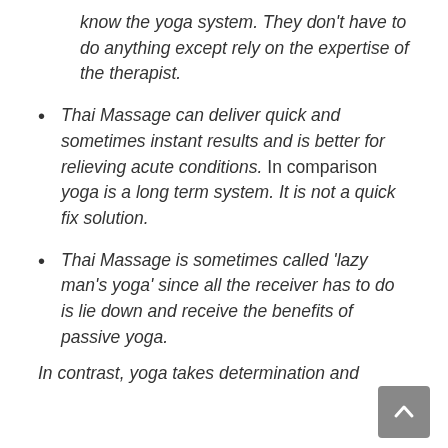know the yoga system. They don't have to do anything except rely on the expertise of the therapist.
Thai Massage can deliver quick and sometimes instant results and is better for relieving acute conditions. In comparison yoga is a long term system. It is not a quick fix solution.
Thai Massage is sometimes called 'lazy man's yoga' since all the receiver has to do is lie down and receive the benefits of passive yoga.
In contrast, yoga takes determination and